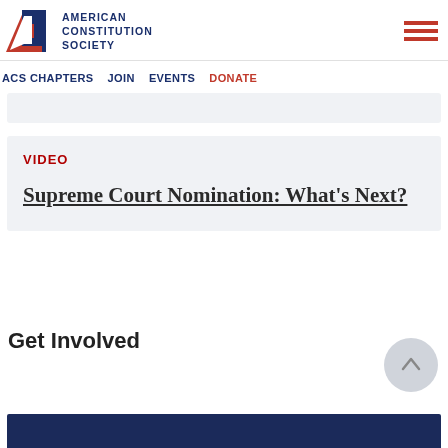AMERICAN CONSTITUTION SOCIETY
ACS CHAPTERS   JOIN   EVENTS   DONATE
VIDEO
Supreme Court Nomination: What's Next?
Get Involved